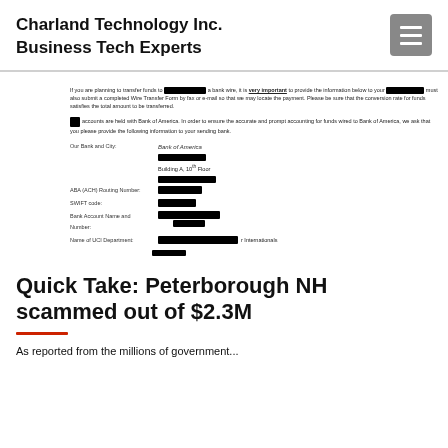Charland Technology Inc.
Business Tech Experts
[Figure (screenshot): Redacted wire transfer instructions document showing Bank of America banking details with fields for Our Bank and City, ABA (ACH) Routing Number, SWIFT code, Bank Account Name and Number, and Name of UCI Department. Most values are redacted with black bars.]
Quick Take: Peterborough NH scammed out of $2.3M
As reported from the millions of government...